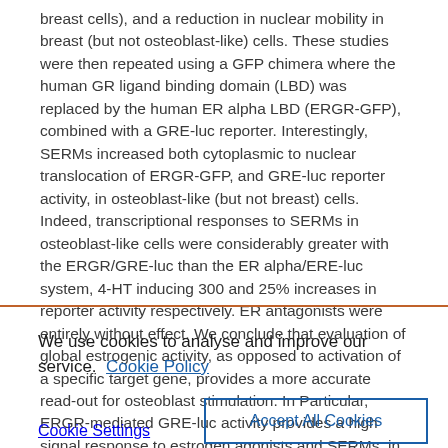breast cells), and a reduction in nuclear mobility in breast (but not osteoblast-like) cells. These studies were then repeated using a GFP chimera where the human GR ligand binding domain (LBD) was replaced by the human ER alpha LBD (ERGR-GFP), combined with a GRE-luc reporter. Interestingly, SERMs increased both cytoplasmic to nuclear translocation of ERGR-GFP, and GRE-luc reporter activity, in osteoblast-like (but not breast) cells. Indeed, transcriptional responses to SERMs in osteoblast-like cells were considerably greater with the ERGR/GRE-luc than the ER alpha/ERE-luc system, 4-HT inducing 300 and 25% increases in reporter activity respectively. ER antagonists were entirely without effect. We conclude that evaluation of global estrogenic activity, as opposed to activation of a specific target gene, provides a more accurate read-out for osteoblast stimulation. In Particular, ERGR-mediated GRE-luc activity provides a high signal response to estrogen agonists and SERMs, in a cell context dependent manner closely resembling
We use cookies to analyse and improve our service. Cookie Policy